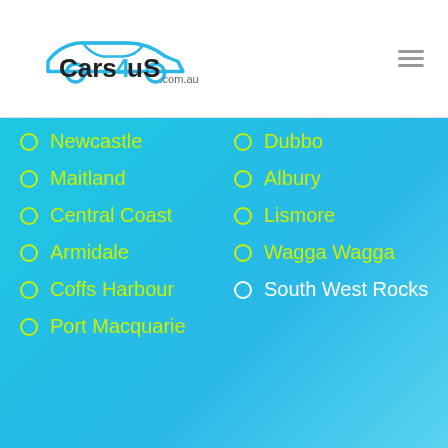Cars4uS.com.au
Newcastle
Maitland
Central Coast
Armidale
Coffs Harbour
Port Macquarie
Dubbo
Albury
Lismore
Wagga Wagga
South West Rocks
How it Works